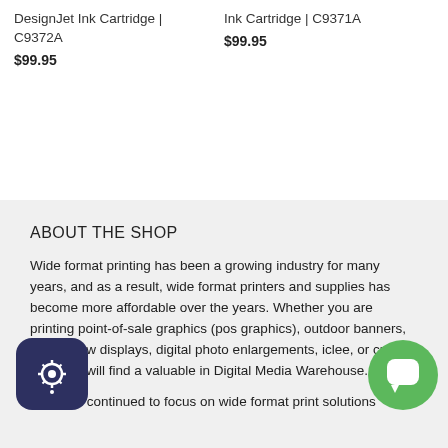DesignJet Ink Cartridge | C9372A
$99.95
Ink Cartridge | C9371A
$99.95
ABOUT THE SHOP
Wide format printing has been a growing industry for many years, and as a result, wide format printers and supplies has become more affordable over the years. Whether you are printing point-of-sale graphics (pos graphics), outdoor banners, trade show displays, digital photo enlargements, iclee, or cutting vinyl you will find a valuable in Digital Media Warehouse.
We have continued to focus on wide format print solutions
[Figure (logo): Dark navy rounded square icon with a gear/settings symbol]
[Figure (logo): Green circle chat bubble icon]